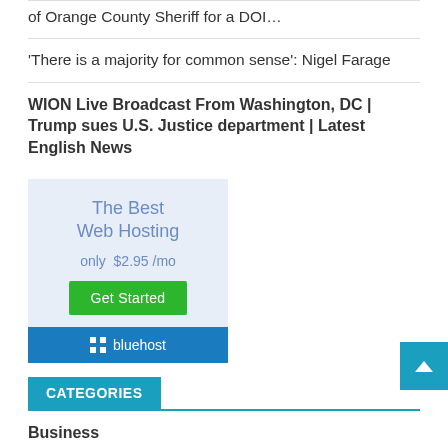of Orange County Sheriff for a DOI…
'There is a majority for common sense': Nigel Farage
WION Live Broadcast From Washington, DC | Trump sues U.S. Justice department | Latest English News
[Figure (infographic): Bluehost advertisement: The Best Web Hosting only $2.95/mo, Get Started button, bluehost logo on blue background]
CATEGORIES
Business
Entertainment
Health